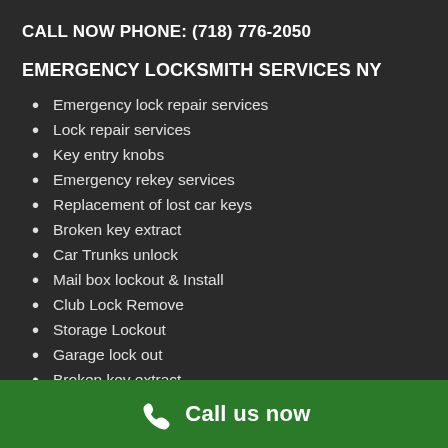CALL NOW PHONE: (718) 776-2050
EMERGENCY LOCKSMITH SERVICES NY
Emergency lock repair services
Lock repair services
Key entry knobs
Emergency rekey services
Replacement of lost car keys
Broken key extract
Car Trunks unlock
Mail box lockout & Install
Club Lock Remove
Storage Lockout
Garage lock out
Broken key extract
Call us now